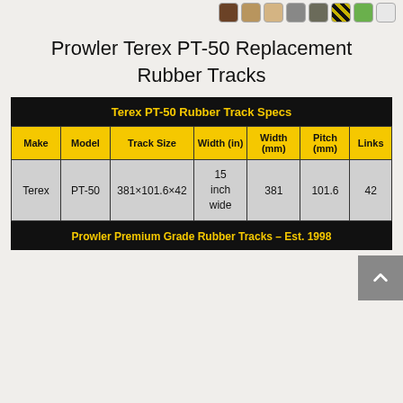Prowler Terex PT-50 Replacement Rubber Tracks
| Make | Model | Track Size | Width (in) | Width (mm) | Pitch (mm) | Links |
| --- | --- | --- | --- | --- | --- | --- |
| Terex | PT-50 | 381×101.6×42 | 15 inch wide | 381 | 101.6 | 42 |
Prowler Premium Grade Rubber Tracks – Est. 1998